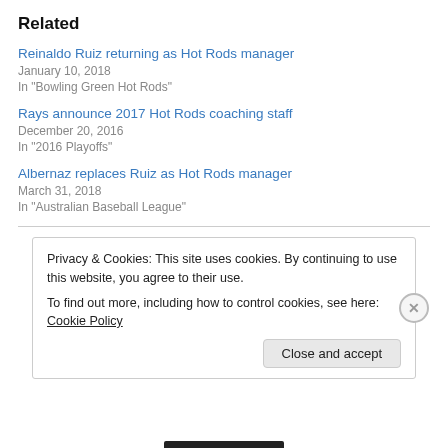Related
Reinaldo Ruiz returning as Hot Rods manager
January 10, 2018
In "Bowling Green Hot Rods"
Rays announce 2017 Hot Rods coaching staff
December 20, 2016
In "2016 Playoffs"
Albernaz replaces Ruiz as Hot Rods manager
March 31, 2018
In "Australian Baseball League"
Privacy & Cookies: This site uses cookies. By continuing to use this website, you agree to their use.
To find out more, including how to control cookies, see here: Cookie Policy
Close and accept